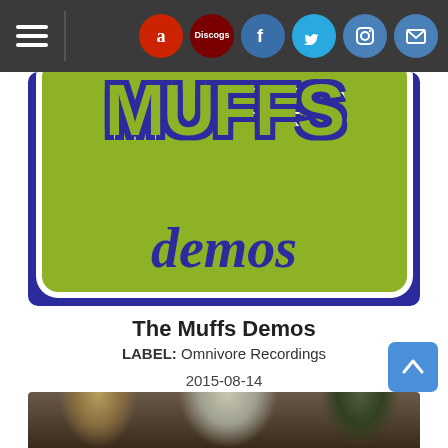Navigation bar with hamburger menu and social icons: Amazon, Discogs, Facebook, Twitter, Instagram, Mail
[Figure (illustration): Album cover for The Muffs Demos. Dark blue/purple background with a green rounded rectangle containing large stylized text 'MUFFS' at top and 'demos' in dark blue cursive below.]
The Muffs Demos
LABEL: Omnivore Recordings
2015-08-14
MP3 Album: $7.99  DOWNLOAD
[Figure (photo): Partial photo of band members at the bottom of the page.]